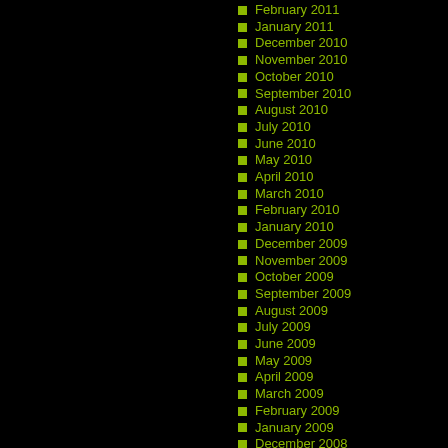February 2011
January 2011
December 2010
November 2010
October 2010
September 2010
August 2010
July 2010
June 2010
May 2010
April 2010
March 2010
February 2010
January 2010
December 2009
November 2009
October 2009
September 2009
August 2009
July 2009
June 2009
May 2009
April 2009
March 2009
February 2009
January 2009
December 2008
November 2008
October 2008
September 2008
August 2008
July 2008
June 2008